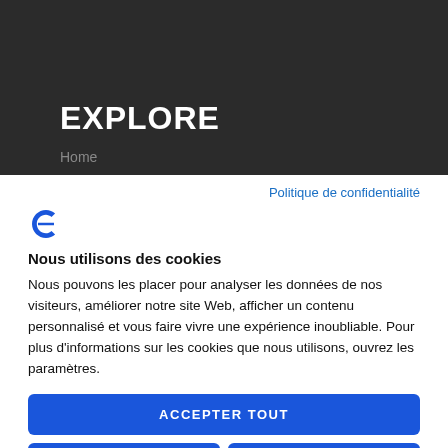EXPLORE
Home
Politique de confidentialité
[Figure (logo): Blue stylized letter C or reversed epsilon logo icon]
Nous utilisons des cookies
Nous pouvons les placer pour analyser les données de nos visiteurs, améliorer notre site Web, afficher un contenu personnalisé et vous faire vivre une expérience inoubliable. Pour plus d'informations sur les cookies que nous utilisons, ouvrez les paramètres.
ACCEPTER TOUT
REFUSER
NON, AJUSTEZ